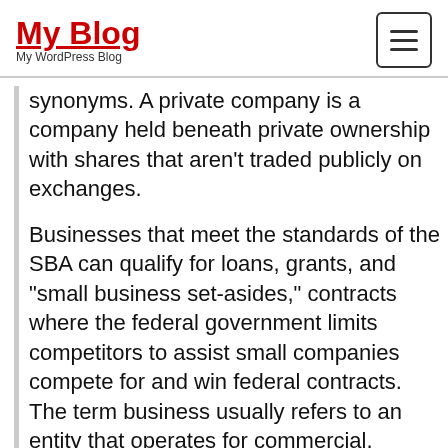My Blog — My WordPress Blog
synonyms. A private company is a company held beneath private ownership with shares that aren’t traded publicly on exchanges.
Businesses that meet the standards of the SBA can qualify for loans, grants, and “small business set-asides,” contracts where the federal government limits competitors to assist small companies compete for and win federal contracts. The term business usually refers to an entity that operates for commercial, industrial, or skilled reasons. The idea begins with an idea and a name, and intensive market research may be required to determine how feasible it is to show the idea right into a enterprise. He thinks more individuals can follow his result in combat